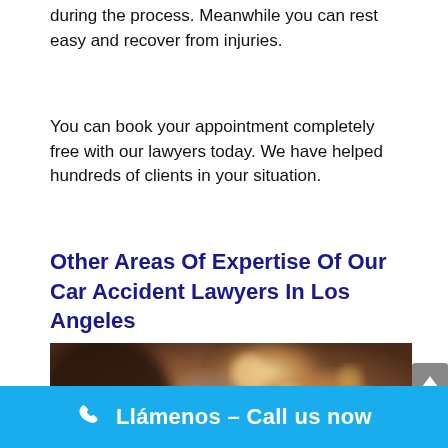during the process. Meanwhile you can rest easy and recover from injuries.
You can book your appointment completely free with our lawyers today. We have helped hundreds of clients in your situation.
Other Areas Of Expertise Of Our Car Accident Lawyers In Los Angeles
[Figure (photo): Blurred outdoor photo showing a person with dark hair in foreground and bokeh-lit cars in background]
Llámenos – Call us now